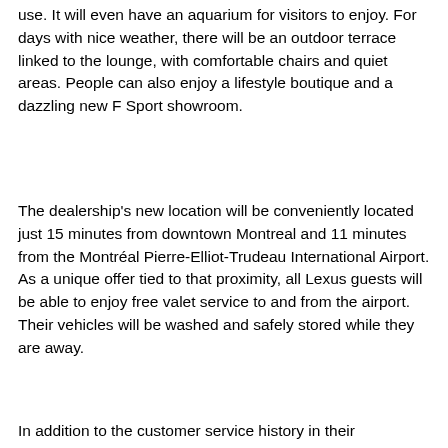use. It will even have an aquarium for visitors to enjoy. For days with nice weather, there will be an outdoor terrace linked to the lounge, with comfortable chairs and quiet areas. People can also enjoy a lifestyle boutique and a dazzling new F Sport showroom.
The dealership's new location will be conveniently located just 15 minutes from downtown Montreal and 11 minutes from the Montréal Pierre-Elliot-Trudeau International Airport. As a unique offer tied to that proximity, all Lexus guests will be able to enjoy free valet service to and from the airport. Their vehicles will be washed and safely stored while they are away.
In addition to the customer service history in their